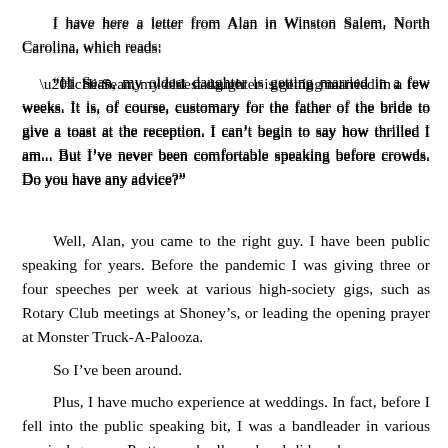I have here a letter from Alan in Winston Salem, North Carolina, which reads:
“Hi Sean, my oldest daughter is getting married in a few weeks. It is, of course, customary for the father of the bride to give a toast at the reception. I can’t begin to say how thrilled I am... But I’ve never been comfortable speaking before crowds. Do you have any advice?”
Well, Alan, you came to the right guy. I have been public speaking for years. Before the pandemic I was giving three or four speeches per week at various high-society gigs, such as Rotary Club meetings at Shoney’s, or leading the opening prayer at Monster Truck-A-Palooza.
So I’ve been around.
Plus, I have mucho experience at weddings. In fact, before I fell into the public speaking bit, I was a bandleader in various musical groups. Pretty much all my band did each summer was play wedding receptions. So I have witnessed, literally